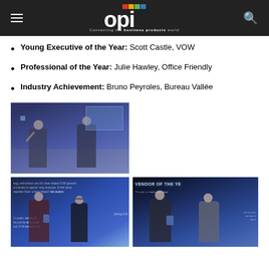OPI – Connecting the business products world
Young Executive of the Year: Scott Castle, VOW
Professional of the Year: Julie Hawley, Office Friendly
Industry Achievement: Bruno Peyroles, Bureau Vallée
[Figure (photo): Two men on stage at an awards ceremony, one holding a trophy/plaque aloft]
[Figure (photo): Man in suit and woman holding award at ceremony with projected text in background]
[Figure (photo): Two men at awards ceremony with VENDOR OF THE YEAR text projected in background]